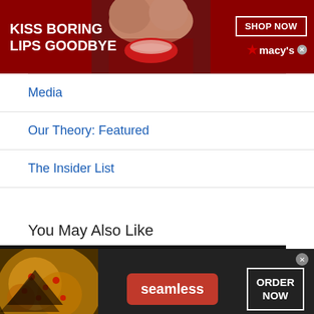[Figure (infographic): Macy's advertisement banner with dark red background, text 'KISS BORING LIPS GOODBYE', woman's face with red lipstick, 'SHOP NOW' button, and Macy's star logo]
Media
Our Theory: Featured
The Insider List
You May Also Like
[Figure (infographic): Seamless food delivery advertisement with dark background, pizza image on left, red 'seamless' logo badge in center, and 'ORDER NOW' button on right]